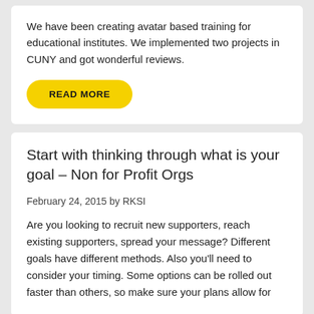We have been creating avatar based training for educational institutes. We implemented two projects in CUNY and got wonderful reviews.
READ MORE
Start with thinking through what is your goal – Non for Profit Orgs
February 24, 2015 by RKSI
Are you looking to recruit new supporters, reach existing supporters, spread your message? Different goals have different methods. Also you'll need to consider your timing. Some options can be rolled out faster than others, so make sure your plans allow for